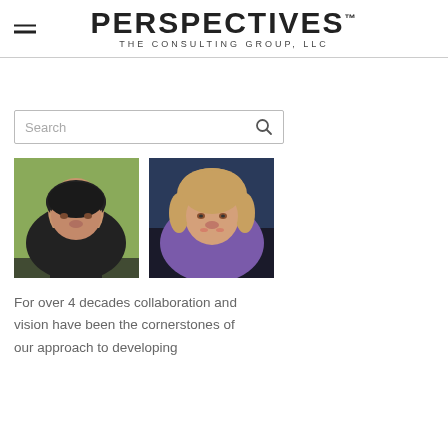PERSPECTIVES. THE CONSULTING GROUP, LLC
[Figure (photo): Search bar with placeholder text 'Search' and a magnifying glass icon]
[Figure (photo): Two professional headshots side by side: a middle-aged man with dark hair on the left, and a blonde woman on the right]
For over 4 decades collaboration and vision have been the cornerstones of our approach to developing